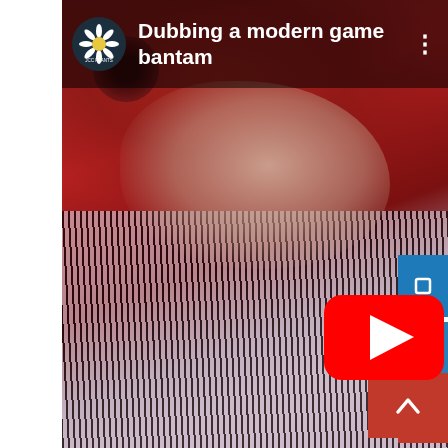[Figure (screenshot): YouTube video thumbnail screenshot showing a video titled 'Dubbing a modern game bantam'. The thumbnail shows a close-up of hands working with a rooster/bantam chicken, with red and black-and-white feathers visible. The video player interface shows a channel icon with a daisy flower, the video title text in white, a three-dot menu button, a large YouTube play button in the center, and side action buttons (blue, blue, red, teal) on the right edge. A red scroll-up button is visible at the bottom right.]